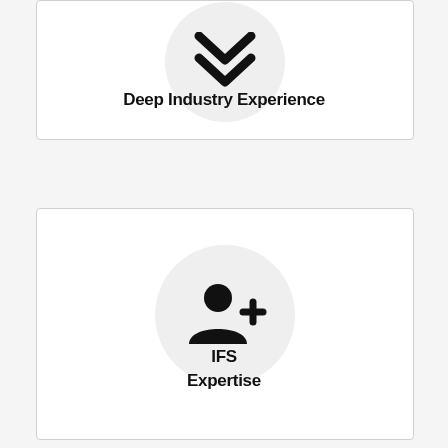[Figure (illustration): Card with a circular icon showing chevron/down-arrows symbol representing Deep Industry Experience]
Deep Industry Experience
[Figure (illustration): Card with a circular icon showing a person-add/user-plus symbol representing IFS Expertise]
IFS
Expertise